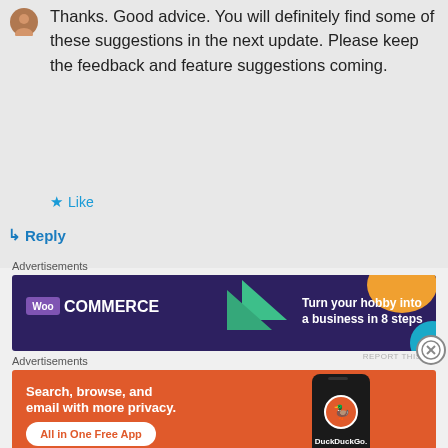Thanks. Good advice. You will definitely find some of these suggestions in the next update. Please keep the feedback and feature suggestions coming.
★ Like
↳ Reply
Advertisements
[Figure (illustration): WooCommerce advertisement banner: dark purple background with green triangle and orange/blue decorative shapes. Text reads 'WooCommerce - Turn your hobby into a business in 8 steps']
REPORT THIS AD
Advertisements
[Figure (illustration): DuckDuckGo advertisement banner: orange background with phone mockup on right. Text reads 'Search, browse, and email with more privacy. All in One Free App' with DuckDuckGo branding.]
REPORT THIS AD